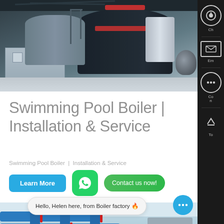[Figure (photo): Industrial boiler installation inside a large factory building. Large dark cylindrical boilers with pipes and metallic equipment visible. Gray metal box units on the floor. Overhead steel roof structure.]
Swimming Pool Boiler | Installation & Service
Swimming Pool Boiler | Installation & Service
Learn More
Contact us now!
[Figure (photo): Industrial boiler room interior showing large blue pipes running horizontally with red accent pipes, ducts and mechanical equipment in a light blue/teal colored utility room.]
Hello, Helen here, from Boiler factory 🔥